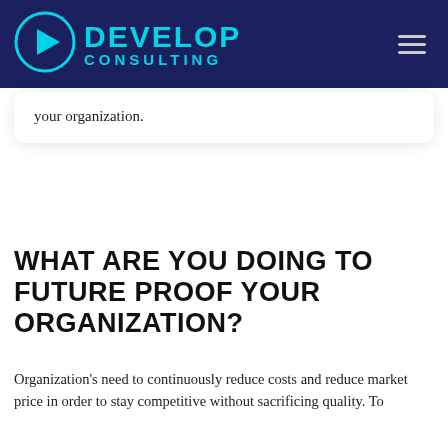DEVELOP CONSULTING
your organization.
WHAT ARE YOU DOING TO FUTURE PROOF YOUR ORGANIZATION?
Organization's need to continuously reduce costs and reduce market price in order to stay competitive without sacrificing quality. To